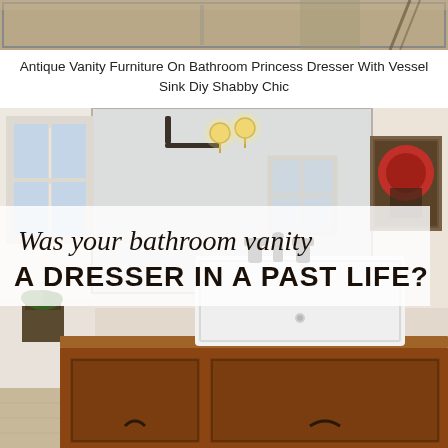[Figure (photo): Partial view of a top image showing an antique vanity/dresser piece — only the bottom strip is visible at the very top of the page]
Antique Vanity Furniture On Bathroom Princess Dresser With Vessel Sink Diy Shabby Chic
[Figure (photo): Bathroom interior photo showing a wooden dresser-style vanity with a white vessel/undermount sink, dark metal faucets, a large mirror, wall-mounted brass light fixture with Edison bulbs, a window on the left, a framed artwork on the right wall, and a small planter on the vanity. Overlaid text reads 'Was your bathroom vanity A DRESSER IN A PAST LIFE?']